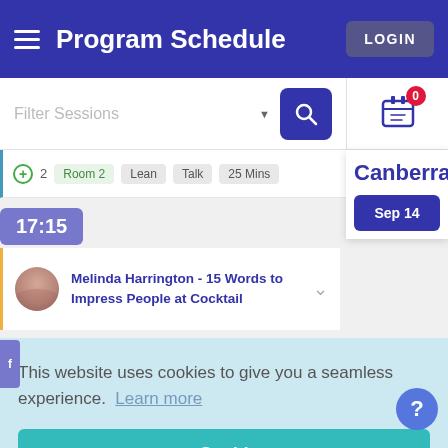Program Schedule
LOGIN
Filter Sessions
2  Room 2  Lean  Talk  25 Mins
17:15
Canberra
Sep 14
Melinda Harrington - 15 Words to Impress People at Cocktail
This website uses cookies to give you a seamless experience.  Learn more
Got it!